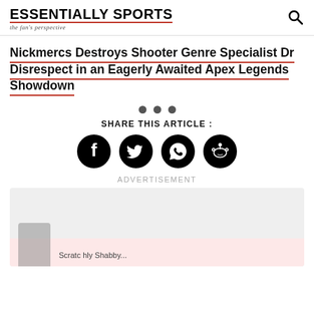ESSENTIALLY SPORTS — the fan's perspective
Nickmercs Destroys Shooter Genre Specialist Dr Disrespect in an Eagerly Awaited Apex Legends Showdown
• • •
SHARE THIS ARTICLE :
[Figure (other): Social share icons: Facebook, Twitter, WhatsApp, Reddit]
ADVERTISEMENT
[Figure (other): Advertisement block with gray background and pink lower section, showing a partial figure silhouette at bottom left with partially visible text]